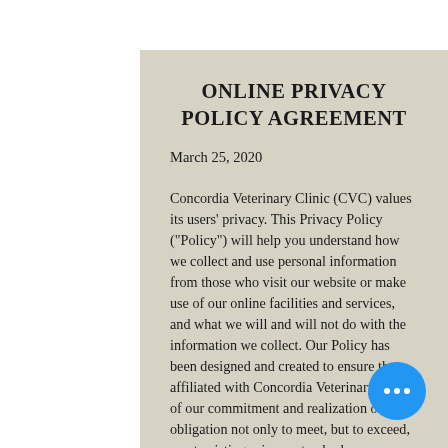ONLINE PRIVACY POLICY AGREEMENT
March 25, 2020
Concordia Veterinary Clinic (CVC) values its users' privacy. This Privacy Policy ("Policy") will help you understand how we collect and use personal information from those who visit our website or make use of our online facilities and services, and what we will and will not do with the information we collect. Our Policy has been designed and created to ensure those affiliated with Concordia Veterinary Clinic of our commitment and realization of our obligation not only to meet, but to exceed, most existing privacy standards.
We reserve the right to make changes to